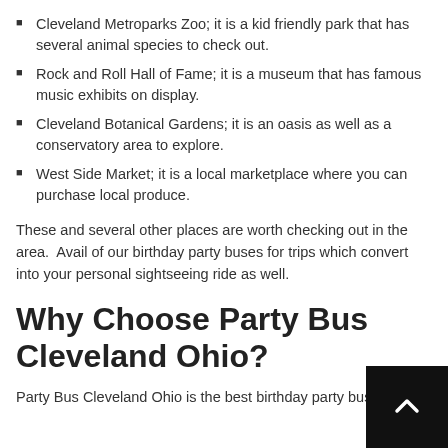Cleveland Metroparks Zoo; it is a kid friendly park that has several animal species to check out.
Rock and Roll Hall of Fame; it is a museum that has famous music exhibits on display.
Cleveland Botanical Gardens; it is an oasis as well as a conservatory area to explore.
West Side Market; it is a local marketplace where you can purchase local produce.
These and several other places are worth checking out in the area.  Avail of our birthday party buses for trips which convert into your personal sightseeing ride as well.
Why Choose Party Bus Cleveland Ohio?
Party Bus Cleveland Ohio is the best birthday party bus rental